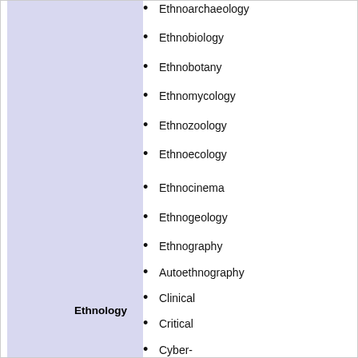Ethnoarchaeology
Ethnobiology
Ethnobotany
Ethnomycology
Ethnozoology
Ethnoecology
Ethnocinema
Ethnogeology
Ethnography
Autoethnography
Clinical
Critical
Cyber-
Institutional
Netnography
Online
Ethnology
Person-centered
Salvage